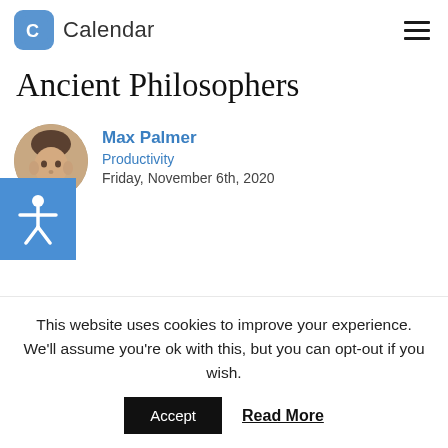Calendar — navigation header with hamburger menu
Ancient Philosophers
Max Palmer
Productivity
Friday, November 6th, 2020
[Figure (illustration): Network/molecule style illustration with orange circles connected by lines and a purple arc shape]
This website uses cookies to improve your experience. We'll assume you're ok with this, but you can opt-out if you wish.
Accept   Read More